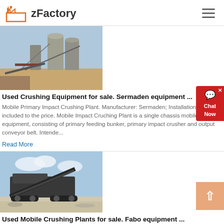zFactory
[Figure (photo): Industrial crushing plant equipment with silos and conveyor belts outdoors]
Used Crushing Equipment for sale. Sermaden equipment ...
Mobile Primary Impact Crushing Plant. Manufacturer: Sermaden; Installation training included to the price. Mobile Impact Cruching Plant is a single chassis mobile equipment, consisting of primary feeding bunker, primary impact crusher and output conveyor belt. Intende...
Read More
[Figure (photo): Mobile crushing plant on tracks outdoors with blue sky]
Used Mobile Crushing Plants for sale. Fabo equipment ...